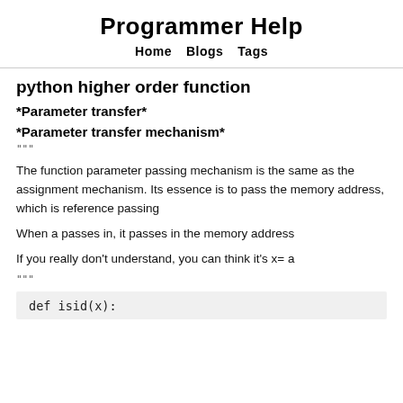Programmer Help
Home   Blogs   Tags
python higher order function
*Parameter transfer*
*Parameter transfer mechanism*
"""
The function parameter passing mechanism is the same as the assignment mechanism. Its essence is to pass the memory address, which is reference passing
When a passes in, it passes in the memory address
If you really don't understand, you can think it's x= a
"""
def isid(x):